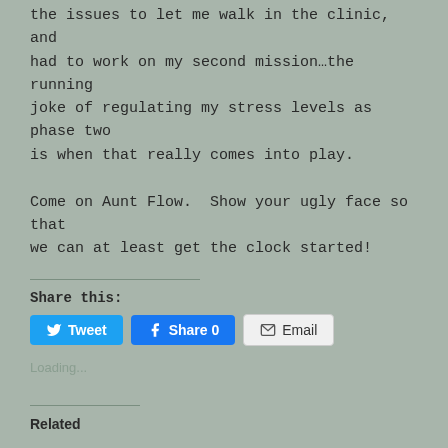the issues to let me walk in the clinic, and had to work on my second mission…the running joke of regulating my stress levels as phase two is when that really comes into play.
Come on Aunt Flow.  Show your ugly face so that we can at least get the clock started!
Share this:
Tweet | Share 0 | Email
Loading...
Related